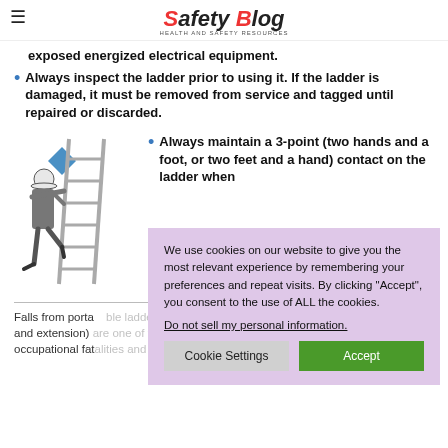Safety Blog — Health and Safety Resources
exposed energized electrical equipment.
Always inspect the ladder prior to using it. If the ladder is damaged, it must be removed from service and tagged until repaired or discarded.
[Figure (illustration): Person climbing a ladder, with a blue arrow pointing at the ladder rungs.]
Always maintain a 3-point (two hands and a foot, or two feet and a hand) contact on the ladder when
Falls from portable ladders (step, straight, combination and extension) are one of the leading causes of occupational fatalities and injuries.
We use cookies on our website to give you the most relevant experience by remembering your preferences and repeat visits. By clicking "Accept", you consent to the use of ALL the cookies.
Do not sell my personal information.